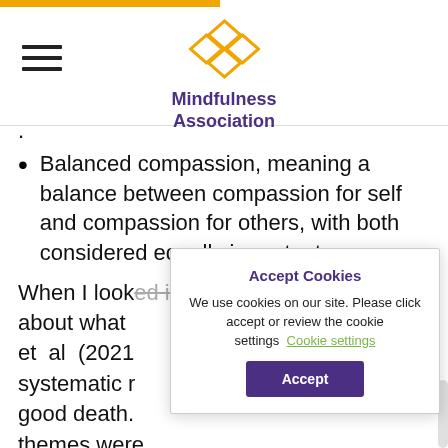Mindfulness Association
Balanced compassion, meaning a balance between compassion for self and compassion for others, with both considered equally important.
When I looked into what the research said about what ... et al (2021) systematic r... good death. themes were
Dying at a
Relief from distress;
Accept Cookies
We use cookies on our site. Please click accept or review the cookie settings   Cookie settings
Accept